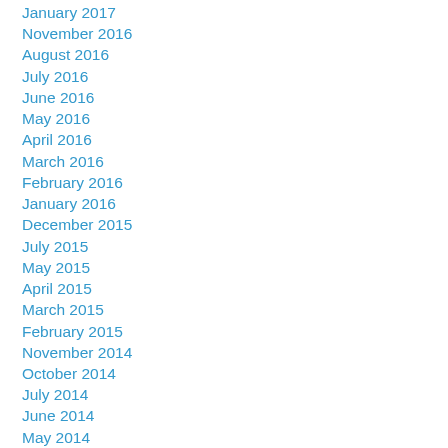January 2017
November 2016
August 2016
July 2016
June 2016
May 2016
April 2016
March 2016
February 2016
January 2016
December 2015
July 2015
May 2015
April 2015
March 2015
February 2015
November 2014
October 2014
July 2014
June 2014
May 2014